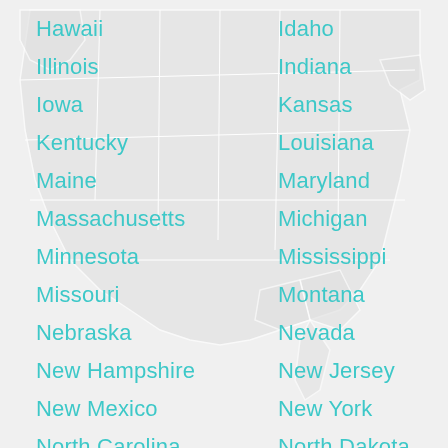[Figure (map): Light gray silhouette map of the contiguous United States with state borders visible, shown as a faded background watermark behind the list of state names.]
Hawaii
Idaho
Illinois
Indiana
Iowa
Kansas
Kentucky
Louisiana
Maine
Maryland
Massachusetts
Michigan
Minnesota
Mississippi
Missouri
Montana
Nebraska
Nevada
New Hampshire
New Jersey
New Mexico
New York
North Carolina
North Dakota
Ohio
Oklahoma